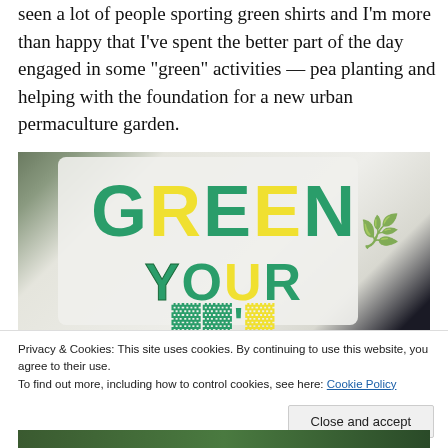seen a lot of people sporting green shirts and I'm more than happy that I've spent the better part of the day engaged in some “green” activities — pea planting and helping with the foundation for a new urban permaculture garden.
[Figure (photo): A white t-shirt with hand-drawn text reading 'GREEN YOUR ...' in teal and yellow block letters, photographed outdoors.]
Privacy & Cookies: This site uses cookies. By continuing to use this website, you agree to their use.
To find out more, including how to control cookies, see here: Cookie Policy
Close and accept
[Figure (photo): Bottom strip of a photo showing green outdoor scene.]